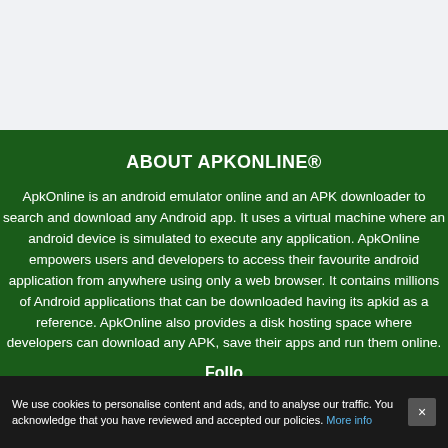ABOUT APKONLINE®
ApkOnline is an android emulator online and an APK downloader to search and download any Android app. It uses a virtual machine where an android device is simulated to execute any application. ApkOnline empowers users and developers to access their favourite android application from anywhere using only a web browser. It contains millions of Android applications that can be downloaded having its apkid as a reference. ApkOnline also provides a disk hosting space where developers can download any APK, save their apps and run them online.
Follow
We use cookies to personalise content and ads, and to analyse our traffic. You acknowledge that you have reviewed and accepted our policies. More info